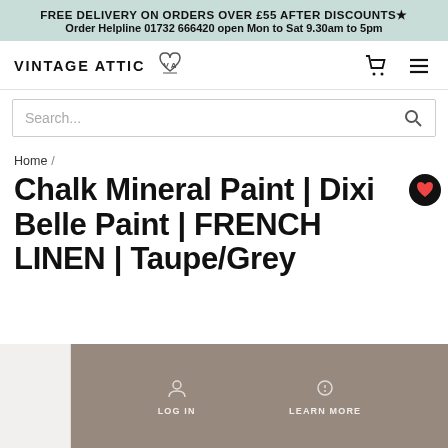FREE DELIVERY ON ORDERS OVER £55 AFTER DISCOUNTS★
Order Helpline 01732 666420 open Mon to Sat 9.30am to 5pm
[Figure (logo): Vintage Attic logo with stylized VA monogram]
Search...
Home /
Chalk Mineral Paint | Dixi Belle Paint | FRENCH LINEN | Taupe/Grey
[Figure (photo): Taupe/grey paint swatch product image with overlay showing Log In and Learn More options, and an X close button]